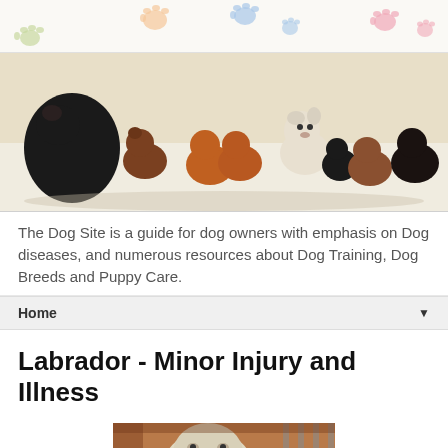[Figure (illustration): Colorful paw print decorations on a light cream background forming a header banner]
[Figure (photo): Group of various dog breeds and puppies posed together on a white background]
The Dog Site is a guide for dog owners with emphasis on Dog diseases, and numerous resources about Dog Training, Dog Breeds and Puppy Care.
Home
Labrador - Minor Injury and Illness
[Figure (photo): Partial view of a Labrador dog, bottom portion visible, warm brown tones]